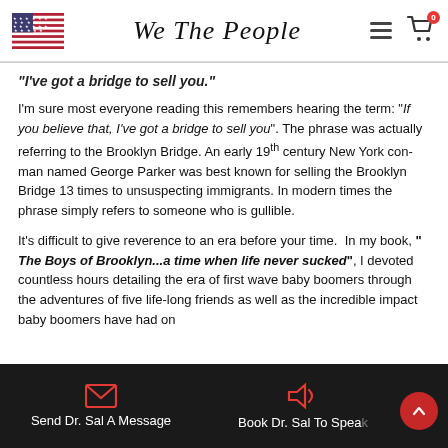[Figure (logo): We The People website header with US flag, script logo text, hamburger menu, and cart icon]
"I've got a bridge to sell you."
I'm sure most everyone reading this remembers hearing the term: "If you believe that, I've got a bridge to sell you". The phrase was actually referring to the Brooklyn Bridge. An early 19th century New York con-man named George Parker was best known for selling the Brooklyn Bridge 13 times to unsuspecting immigrants. In modern times the phrase simply refers to someone who is gullible.
It's difficult to give reverence to an era before your time.  In my book, " The Boys of Brooklyn...a time when life never sucked", I devoted countless hours detailing the era of first wave baby boomers through the adventures of five life-long friends as well as the incredible impact baby boomers have had on
Send Dr. Sal A Message   Book Dr. Sal To Speak